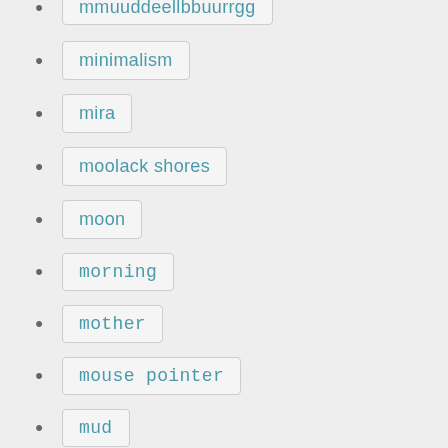mmuuddeellbbuurrgg (partial, top)
minimalism
mira
moolack shores
moon
morning
mother
mouse pointer
mud